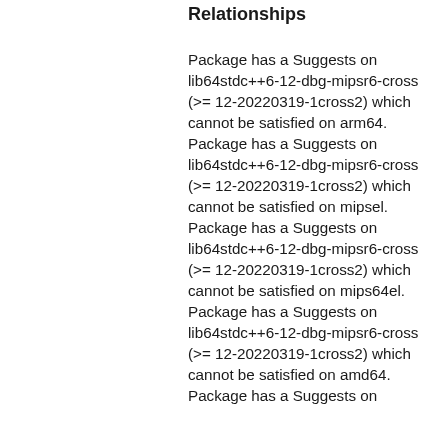Relationships
Package has a Suggests on lib64stdc++6-12-dbg-mipsr6-cross (>= 12-20220319-1cross2) which cannot be satisfied on arm64.
Package has a Suggests on lib64stdc++6-12-dbg-mipsr6-cross (>= 12-20220319-1cross2) which cannot be satisfied on mipsel.
Package has a Suggests on lib64stdc++6-12-dbg-mipsr6-cross (>= 12-20220319-1cross2) which cannot be satisfied on mips64el.
Package has a Suggests on lib64stdc++6-12-dbg-mipsr6-cross (>= 12-20220319-1cross2) which cannot be satisfied on amd64.
Package has a Suggests on